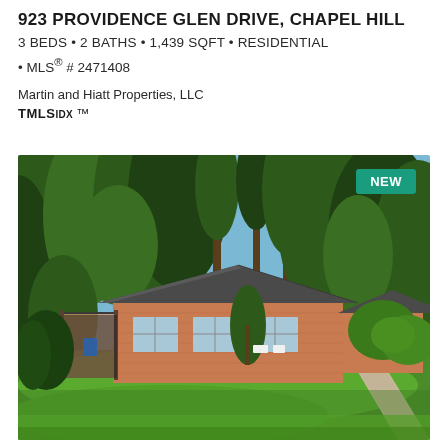923 PROVIDENCE GLEN DRIVE, CHAPEL HILL
3 BEDS • 2 BATHS • 1,439 SQFT • RESIDENTIAL
• MLS® # 2471408
Martin and Hiatt Properties, LLC
TMLS IDX ™
[Figure (photo): Exterior photo of a single-story residential brick home with gray roof surrounded by large trees, lush green lawn in foreground, blue sky visible through tree canopy, 'NEW' badge in upper right corner]